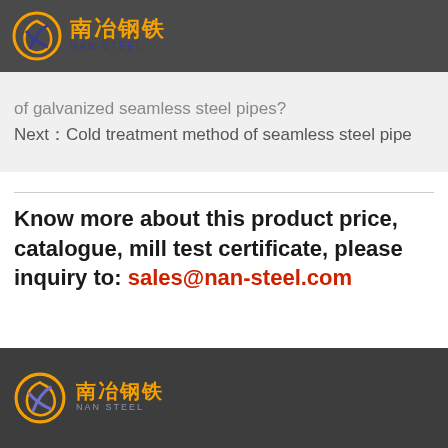南冶钢铁 NAN STEEL
of galvanized seamless steel pipes?
Next：Cold treatment method of seamless steel pipe
Know more about this product price, catalogue, mill test certificate,  please inquiry to: sales@nan-steel.com
Contact
南冶钢铁 NAN STEEL